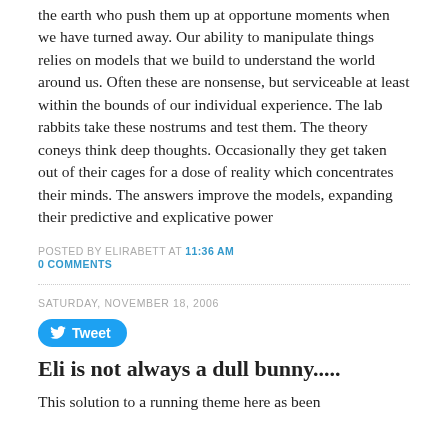the earth who push them up at opportune moments when we have turned away. Our ability to manipulate things relies on models that we build to understand the world around us. Often these are nonsense, but serviceable at least within the bounds of our individual experience. The lab rabbits take these nostrums and test them. The theory coneys think deep thoughts. Occasionally they get taken out of their cages for a dose of reality which concentrates their minds. The answers improve the models, expanding their predictive and explicative power
POSTED BY ELIRABETT AT 11:36 AM
0 COMMENTS
SATURDAY, NOVEMBER 18, 2006
[Figure (other): Twitter Tweet button with bird icon]
Eli is not always a dull bunny.....
This solution to a running theme here as been